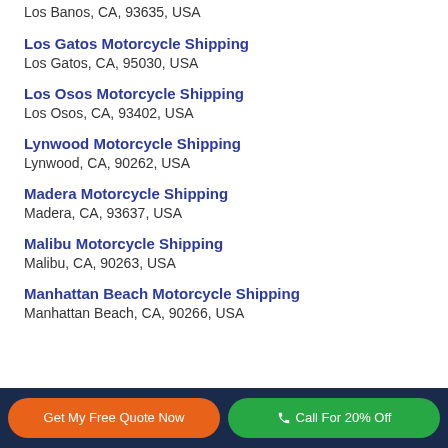Los Banos, CA, 93635, USA
Los Gatos Motorcycle Shipping
Los Gatos, CA, 95030, USA
Los Osos Motorcycle Shipping
Los Osos, CA, 93402, USA
Lynwood Motorcycle Shipping
Lynwood, CA, 90262, USA
Madera Motorcycle Shipping
Madera, CA, 93637, USA
Malibu Motorcycle Shipping
Malibu, CA, 90263, USA
Manhattan Beach Motorcycle Shipping
Manhattan Beach, CA, 90266, USA
Get My Free Quote Now | Call For 20% Off